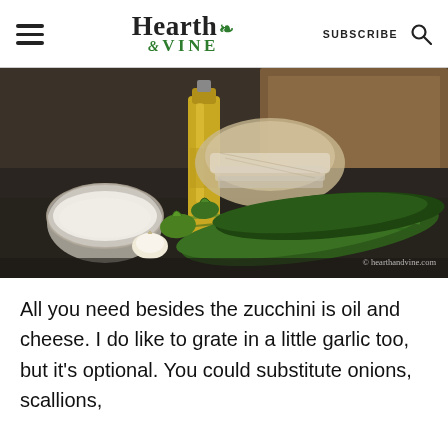Hearth & VINE — SUBSCRIBE
[Figure (photo): Kitchen counter with zucchini, a bottle of olive oil, a glass bowl of flour, a garlic clove, and folded cloth towels against a wooden cabinet background. Watermark: © hearthandvine.com]
All you need besides the zucchini is oil and cheese. I do like to grate in a little garlic too, but it's optional. You could substitute onions, scallions,